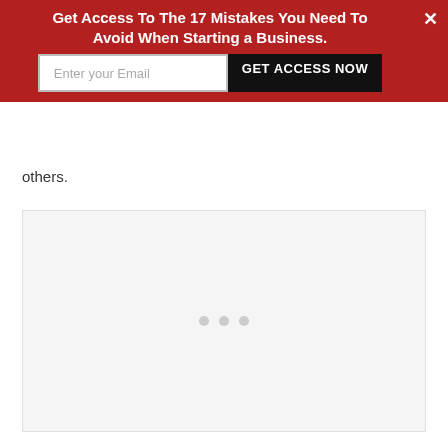[Figure (screenshot): Red promotional banner overlay with headline 'Get Access To The 17 Mistakes You Need To Avoid When Starting a Business.', an email input field, a 'GET ACCESS NOW' button, and a close (x) button.]
others.
[Figure (other): Light gray advertisement/content placeholder box with three gray dots centered in it.]